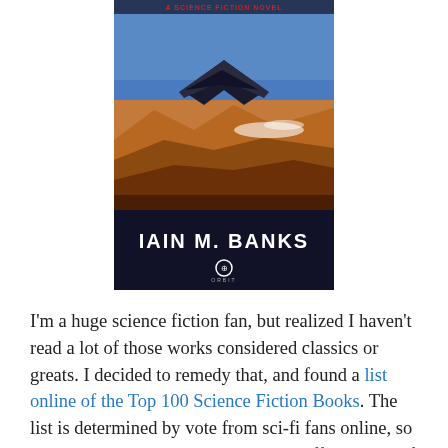[Figure (illustration): Book cover of a science fiction novel by Iain M. Banks, published by Orbit. The cover shows a futuristic aircraft flying over a canyon landscape. The bottom of the cover has a dark band with 'IAIN M. BANKS' in bold white text and the Orbit publisher logo.]
I'm a huge science fiction fan, but realized I haven't read a lot of those works considered classics or greats. I decided to remedy that, and found a list online of the Top 100 Science Fiction Books. The list is determined by vote from sci-fi fans online, so it may change over time. I am going off the order of the list as it was when I first saw it. Each book will receive a grade between F and A+ as well as